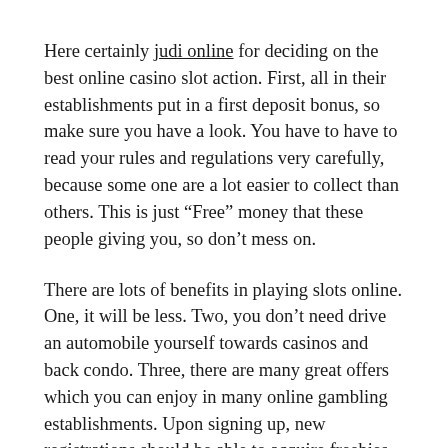Here certainly judi online for deciding on the best online casino slot action. First, all in their establishments put in a first deposit bonus, so make sure you have a look. You have to have to read your rules and regulations very carefully, because some one are a lot easier to collect than others. This is just “Free” money that these people giving you, so don’t mess on.
There are lots of benefits in playing slots online. One, it will be less. Two, you don’t need drive an automobile yourself towards casinos and back condo. Three, there are many great offers which you can enjoy in many online gambling establishments. Upon signing up, new registrations should be able to acquire freebies and sometime an initial amount a person bankroll. Fourth, online slots are basic to take. Spinning is just a question of a mouse click all time. You can select pay lines, adjust your bets, and money out only using your computer